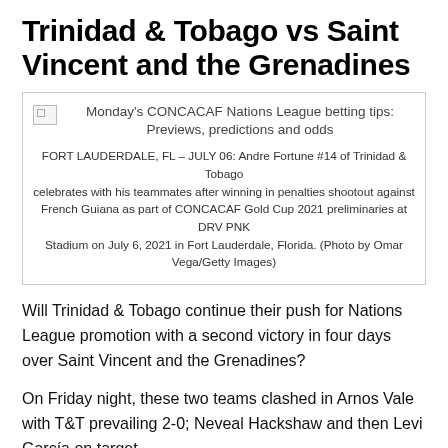Trinidad & Tobago vs Saint Vincent and the Grenadines
[Figure (photo): Broken image placeholder with caption: Monday's CONCACAF Nations League betting tips: Previews, predictions and odds. Caption text: FORT LAUDERDALE, FL – JULY 06: Andre Fortune #14 of Trinidad & Tobago celebrates with his teammates after winning in penalties shootout against French Guiana as part of CONCACAF Gold Cup 2021 preliminaries at DRV PNK Stadium on July 6, 2021 in Fort Lauderdale, Florida. (Photo by Omar Vega/Getty Images)]
Will Trinidad & Tobago continue their push for Nations League promotion with a second victory in four days over Saint Vincent and the Grenadines?
On Friday night, these two teams clashed in Arnos Vale with T&T prevailing 2-0; Neveal Hackshaw and then Levi García on target.